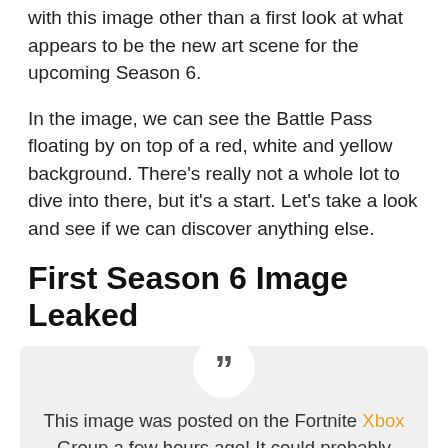with this image other than a first look at what appears to be the new art scene for the upcoming Season 6.
In the image, we can see the Battle Pass floating by on top of a red, white and yellow background. There’s really not a whole lot to dive into there, but it’s a start. Let’s take a look and see if we can discover anything else.
First Season 6 Image Leaked
This image was posted on the Fortnite Xbox Group a few hours ago! It could probably show the “main color scheme” of the Season 6 teasers or